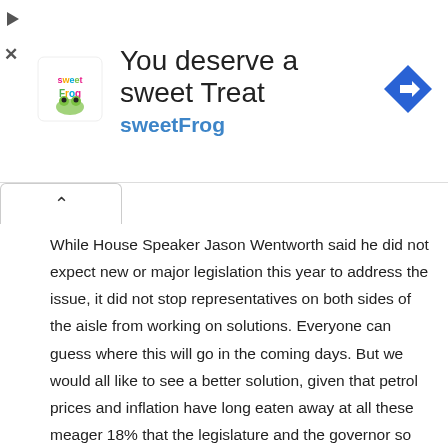[Figure (other): Advertisement banner for sweetFrog frozen yogurt. Shows sweetFrog logo on left, large text 'You deserve a sweet Treat' and 'sweetFrog' in blue, and a blue diamond navigation icon on the right. Ad controls (play and close) on far left.]
While House Speaker Jason Wentworth said he did not expect new or major legislation this year to address the issue, it did not stop representatives on both sides of the aisle from working on solutions. Everyone can guess where this will go in the coming days. But we would all like to see a better solution, given that petrol prices and inflation have long eaten away at all these meager 18% that the legislature and the governor so proudly promised three years ago.
Copyright 2022 by WDIV ClickOnDetroit – All rights reserved.
Related
Has Michigan's Car
Has Michigan's Car